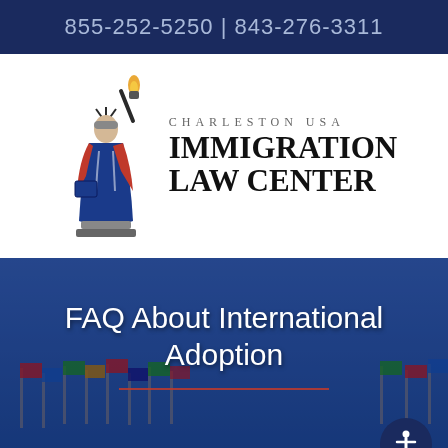855-252-5250 | 843-276-3311
[Figure (logo): Charleston USA Immigration Law Center logo with Statue of Liberty illustration in red, white, and blue]
FAQ About International Adoption
[Figure (other): Bottom navigation: red hamburger menu button and dark navy accessibility icon button]